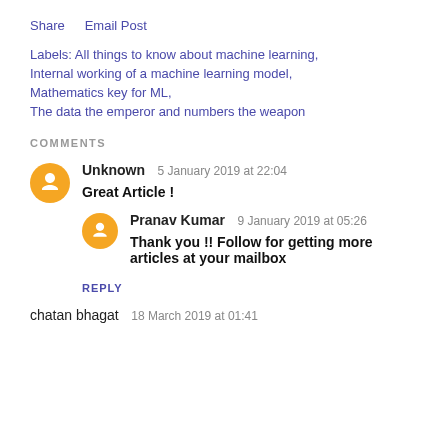Share   Email Post
Labels: All things to know about machine learning,
Internal working of a machine learning model,
Mathematics key for ML,
The data the emperor and numbers the weapon
COMMENTS
Unknown  5 January 2019 at 22:04
Great Article !
Pranav Kumar  9 January 2019 at 05:26
Thank you !! Follow for getting more articles at your mailbox
REPLY
chatan bhagat  18 March 2019 at 01:41